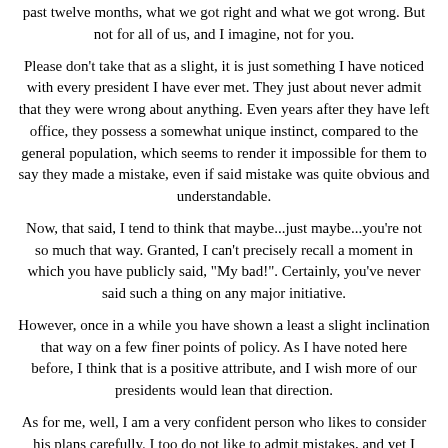past twelve months, what we got right and what we got wrong. But not for all of us, and I imagine, not for you.
Please don't take that as a slight, it is just something I have noticed with every president I have ever met. They just about never admit that they were wrong about anything. Even years after they have left office, they possess a somewhat unique instinct, compared to the general population, which seems to render it impossible for them to say they made a mistake, even if said mistake was quite obvious and understandable.
Now, that said, I tend to think that maybe...just maybe...you're not so much that way. Granted, I can't precisely recall a moment in which you have publicly said, "My bad!". Certainly, you've never said such a thing on any major initiative.
However, once in a while you have shown a least a slight inclination that way on a few finer points of policy. As I have noted here before, I think that is a positive attribute, and I wish more of our presidents would lean that direction.
As for me, well, I am a very confident person who likes to consider his plans carefully. I too do not like to admit mistakes, and yet I could go on all afternoon about the mistakes I made in the past year alone. It's not because I am some sort of self-effacing masochist, but rather, I believe in the risk of f...